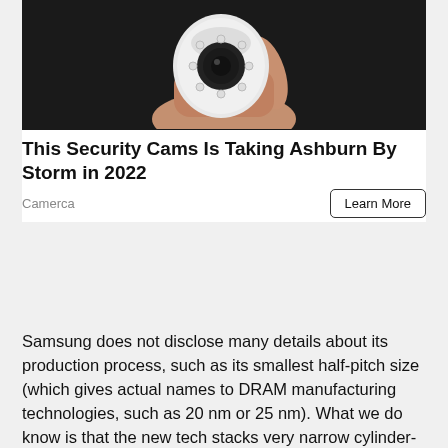[Figure (photo): A hand holding a small white security camera with infrared LEDs surrounding the lens, against a dark background.]
This Security Cams Is Taking Ashburn By Storm in 2022
Camerca
Learn More
Samsung does not disclose many details about its production process, such as its smallest half-pitch size (which gives actual names to DRAM manufacturing technologies, such as 20 nm or 25 nm). What we do know is that the new tech stacks very narrow cylinder-shaped capacitors on top of transistors, which implies a new DRAM cell structure (4F²?). Manufacturers of memory have historically changed the structures of DRAM cells every five or six